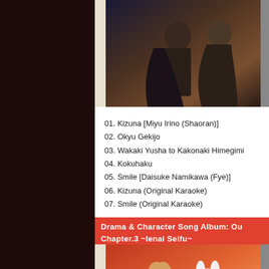[Figure (photo): Anime CD album cover with two characters against dark background, with CD spine on left]
01. Kizuna [Miyu Irino (Shaoran)]
02. Okyu Gekijo
03. Wakaki Yusha to Kakonaki Himegimi
04. Kokuhaku
05. Smile [Daisuke Namikawa (Fye)]
06. Kizuna (Original Karaoke)
07. Smile (Original Karaoke)
Drama & Character Song Album: Ou Chapter.3 ~Ienai Seifu~
[Figure (photo): Anime CD album cover with blonde character and white rabbit-like creature against red/orange background]